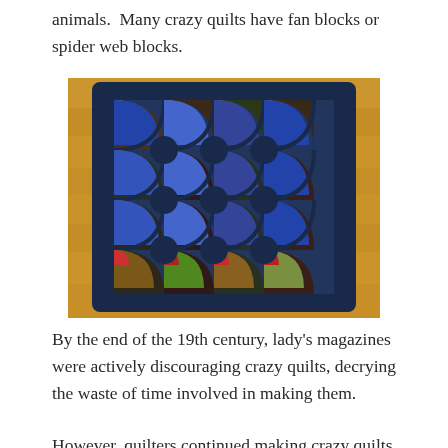animals.  Many crazy quilts have fan blocks or spider web blocks.
[Figure (photo): A crazy quilt with fan blocks displayed on a wooden floor. The quilt features a dark navy blue border with colorful fan-shaped patchwork blocks in the center, made from various fabrics including striped, floral, and solid materials.]
By the end of the 19th century, lady's magazines were actively discouraging crazy quilts, decrying the waste of time involved in making them.
However, quilters continued making crazy quilts